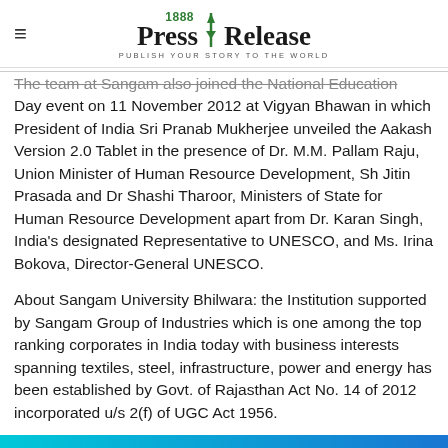1888 Press Release — PUBLISH YOUR STORY TO THE WORLD
The team at Sangam also joined the National Education Day event on 11 November 2012 at Vigyan Bhawan in which President of India Sri Pranab Mukherjee unveiled the Aakash Version 2.0 Tablet in the presence of Dr. M.M. Pallam Raju, Union Minister of Human Resource Development, Sh Jitin Prasada and Dr Shashi Tharoor, Ministers of State for Human Resource Development apart from Dr. Karan Singh, India's designated Representative to UNESCO, and Ms. Irina Bokova, Director-General UNESCO.
About Sangam University Bhilwara: the Institution supported by Sangam Group of Industries which is one among the top ranking corporates in India today with business interests spanning textiles, steel, infrastructure, power and energy has been established by Govt. of Rajasthan Act No. 14 of 2012 incorporated u/s 2(f) of UGC Act 1956.
###